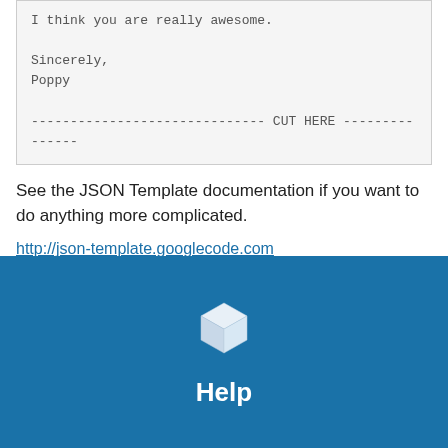I think you are really awesome.

Sincerely,
Poppy

------------------------------ CUT HERE ---------------
See the JSON Template documentation if you want to do anything more complicated.
http://json-template.googlecode.com
[Figure (logo): White 3D cube icon on blue background with 'Help' label below]